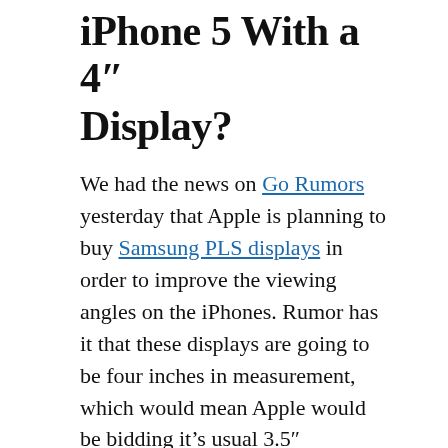iPhone 5 With a 4" Display?
We had the news on Go Rumors yesterday that Apple is planning to buy Samsung PLS displays in order to improve the viewing angles on the iPhones. Rumor has it that these displays are going to be four inches in measurement, which would mean Apple would be bidding it's usual 3.5" touchscreen adieu. Guess this is Apple's answer and an attempt to stay amidst all the Google Android devices which are now coming with bigger and better displays when compared to Apple. According to a buzz from upstream component suppliers of Taiwan, Apple would also be using 1 GHz dual core Cortex A9